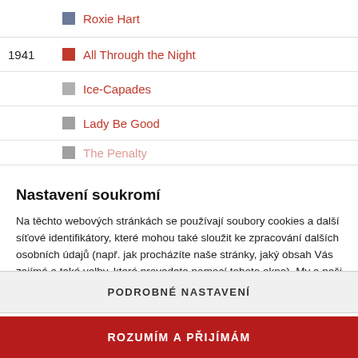Roxie Hart
1941 – All Through the Night
Ice-Capades
Lady Be Good
The Penalty
Nastavení soukromí
Na těchto webových stránkách se používají soubory cookies a další síťové identifikátory, které mohou také sloužit ke zpracování dalších osobních údajů (např. jak procházíte naše stránky, jaký obsah Vás zajímá a také volby, které provedete pomocí tohoto okna). My a naši partneři máme k těmto údajům ve Vašem zařízení přístup nebo je ukládáme. Tyto údaje nám pomáhají provozovat a zlepšovat naše služby. Můžeme Vám také doporučovat obsah a zobrazovat reklamy na základě Vašich preferencí. Pro
PODROBNÉ NASTAVENÍ
ROZUMÍM A PŘIJÍMÁM